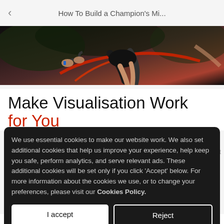How To Build a Champion's Mi...
[Figure (photo): Close-up photo of a cyclist on a red bicycle, showing legs and hands gripping handlebars, dark moody background]
Make Visualisation Work for You
We use essential cookies to make our website work. We also set additional cookies that help us improve your experience, help keep you safe, perform analytics, and serve relevant ads. These additional cookies will be set only if you click 'Accept' below. For more information about the cookies we use, or to change your preferences, please visit our Cookies Policy.
to 10 minutes!!! But even 5 minutes has value